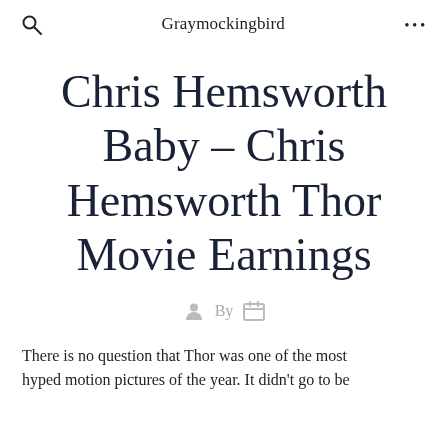Graymockingbird
Chris Hemsworth Baby – Chris Hemsworth Thor Movie Earnings
By
There is no question that Thor was one of the most hyped motion pictures of the year. It didn't go to be